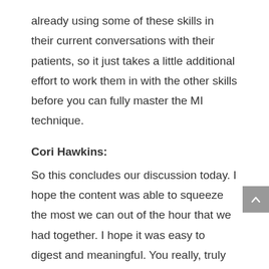already using some of these skills in their current conversations with their patients, so it just takes a little additional effort to work them in with the other skills before you can fully master the MI technique.
Cori Hawkins:
So this concludes our discussion today. I hope the content was able to squeeze the most we can out of the hour that we had together. I hope it was easy to digest and meaningful. You really, truly could spend 40 hours diving into more specifics, but I just wanted to stick to the key components and the impacts of